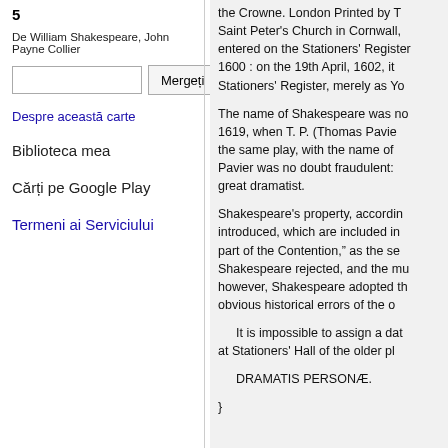5
De William Shakespeare, John Payne Collier
Despre această carte
Biblioteca mea
Cărți pe Google Play
Termeni ai Serviciului
the Crowne. London Printed by T Saint Peter's Church in Cornwall, entered on the Stationers' Register 1600 : on the 19th April, 1602, it Stationers' Register, merely as Yo
The name of Shakespeare was no 1619, when T. P. (Thomas Pavie the same play, with the name of Pavier was no doubt fraudulent: great dramatist.
Shakespeare's property, accordin introduced, which are included in part of the Contention," as the se Shakespeare rejected, and the mu however, Shakespeare adopted th obvious historical errors of the o
It is impossible to assign a dat at Stationers' Hall of the older pl
DRAMATIS PERSONÆ.
}